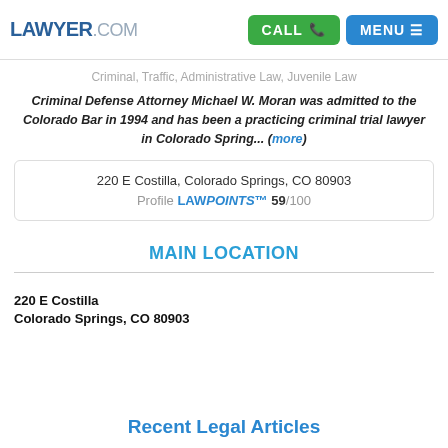LAWYER.COM | CALL | MENU
Criminal, Traffic, Administrative Law, Juvenile Law
Criminal Defense Attorney Michael W. Moran was admitted to the Colorado Bar in 1994 and has been a practicing criminal trial lawyer in Colorado Spring... (more)
220 E Costilla, Colorado Springs, CO 80903
Profile LAWPOINTS™ 59/100
MAIN LOCATION
220 E Costilla
Colorado Springs, CO 80903
Recent Legal Articles